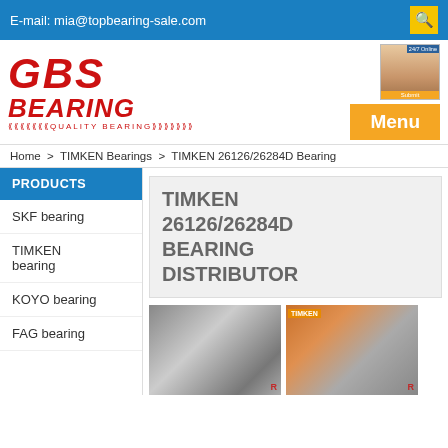E-mail: mia@topbearing-sale.com
[Figure (logo): GBS Bearing logo in red italic text with quality bearing tagline]
Menu
Home > TIMKEN Bearings > TIMKEN 26126/26284D Bearing
PRODUCTS
SKF bearing
TIMKEN bearing
KOYO bearing
FAG bearing
TIMKEN 26126/26284D BEARING DISTRIBUTOR
[Figure (photo): Product photos of TIMKEN 26126/26284D bearing - two images side by side showing the bearing and its packaging]